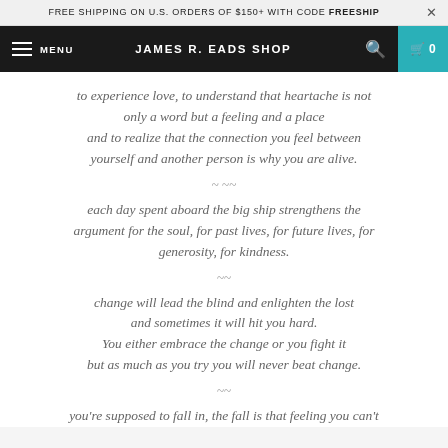FREE SHIPPING ON U.S. ORDERS OF $150+ WITH CODE FREESHIP
MENU  JAMES R. EADS SHOP  0
to experience love, to understand that heartache is not only a word but a feeling and a place and to realize that the connection you feel between yourself and another person is why you are alive.
~ ~~
each day spent aboard the big ship strengthens the argument for the soul, for past lives, for future lives, for generosity, for kindness.
~~
change will lead the blind and enlighten the lost and sometimes it will hit you hard. You either embrace the change or you fight it but as much as you try you will never beat change.
~~
you're supposed to fall in, the fall is that feeling you can't
you're supposed to fall in, the fall is that feeling you can't